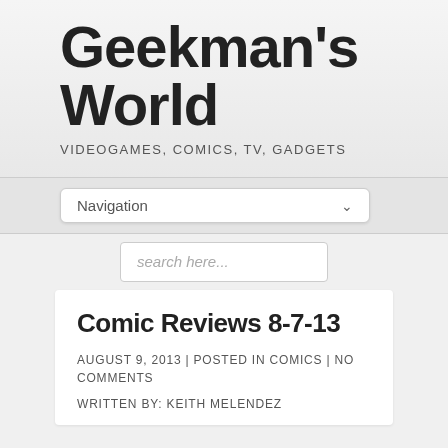Geekman's World
VIDEOGAMES, COMICS, TV, GADGETS
Navigation
search here...
Comic Reviews 8-7-13
AUGUST 9, 2013 | POSTED IN COMICS | NO COMMENTS
WRITTEN BY: KEITH MELENDEZ